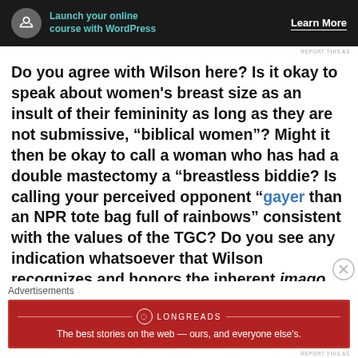[Figure (screenshot): Top advertisement banner: dark background with WordPress course promotion and 'Learn More' link]
REPORT THIS AS
Do you agree with Wilson here? Is it okay to speak about women's breast size as an insult of their femininity as long as they are not submissive, “biblical women”? Might it then be okay to call a woman who has had a double mastectomy a “breastless biddie? Is calling your perceived opponent “gayer than an NPR tote bag full of rainbows” consistent with the values of the TGC? Do you see any indication whatsoever that Wilson recognizes and honors the inherent imago dei in his detractors? Do you agree with using violent,
Advertisements
[Figure (screenshot): Bottom advertisement banner: Longreads red banner reading 'The best stories on the web — ours, and everyone else's.']
REPORT THIS AS